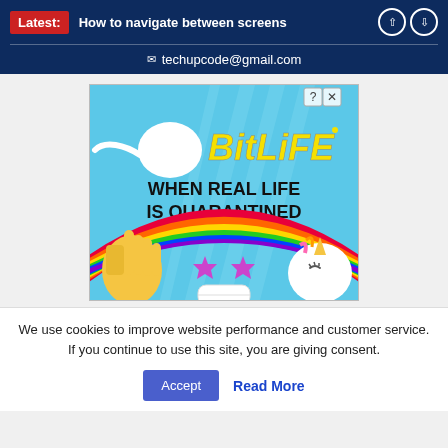Latest: How to navigate between screens
✉ techupcode@gmail.com
[Figure (illustration): BitLife game advertisement. Shows 'BitLife' logo in yellow italic text on a blue background with the tagline 'WHEN REAL LIFE IS QUARANTINED'. Features cartoon emojis including a star-eyes face wearing a mask, a thumbs up, and a unicorn with a rainbow.]
We use cookies to improve website performance and customer service. If you continue to use this site, you are giving consent.
Accept   Read More